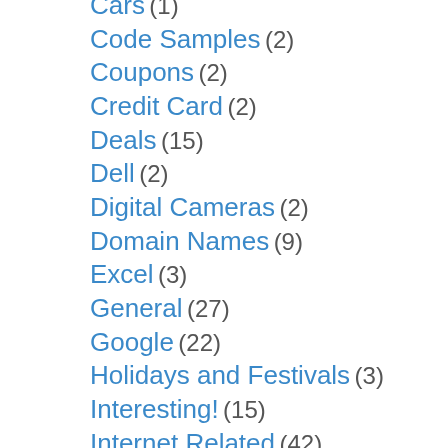Cars (1)
Code Samples (2)
Coupons (2)
Credit Card (2)
Deals (15)
Dell (2)
Digital Cameras (2)
Domain Names (9)
Excel (3)
General (27)
Google (22)
Holidays and Festivals (3)
Interesting! (15)
Internet Related (42)
Life (2)